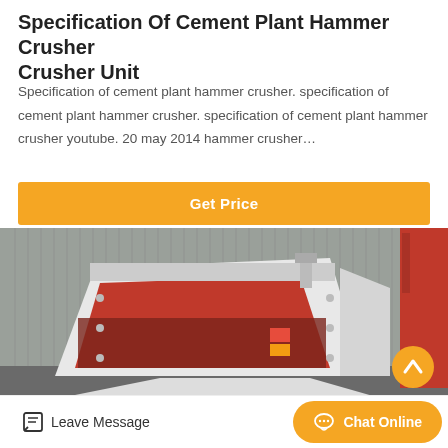Specification Of Cement Plant Hammer Crusher Crusher Unit
Specification of cement plant hammer crusher. specification of cement plant hammer crusher. specification of cement plant hammer crusher youtube. 20 may 2014 hammer crusher…
[Figure (other): Orange 'Get Price' button]
[Figure (photo): Industrial hammer crusher machine with white and red exterior, parked in front of a corrugated metal building]
[Figure (other): Orange circular scroll-to-top arrow button]
Leave Message   Chat Online